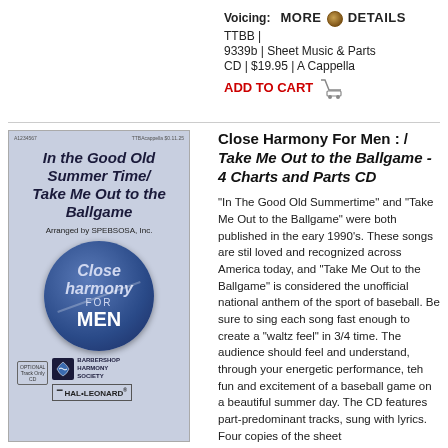Voicing:   MORE DETAILS
TTBB |
9339b | Sheet Music & Parts
CD | $19.95 | A Cappella
ADD TO CART
[Figure (illustration): Sheet music cover for 'In the Good Old Summer Time / Take Me Out to the Ballgame', Arranged by SPEBSOSA Inc. Close Harmony For Men series, Hal Leonard publisher, Barbershop Harmony Society logo]
Close Harmony For Men : / Take Me Out to the Ballgame - 4 Charts and Parts CD
"In The Good Old Summertime" and "Take Me Out to the Ballgame" were both published in the eary 1990's. These songs are stil loved and recognized across America today, and "Take Me Out to the Ballgame" is considered the unofficial national anthem of the sport of baseball. Be sure to sing each song fast enough to create a "waltz feel" in 3/4 time. The audience should feel and understand, through your energetic performance, teh fun and excitement of a baseball game on a beautiful summer day. The CD features part-predominant tracks, sung with lyrics. Four copies of the sheet